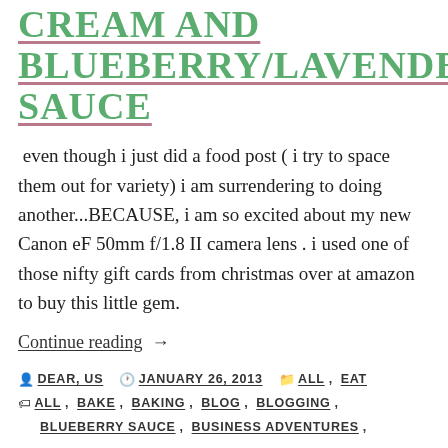CREAM AND BLUEBERRY/LAVENDER SAUCE
even though i just did a food post ( i try to space them out for variety) i am surrendering to doing another...BECAUSE, i am so excited about my new Canon eF 50mm f/1.8 II camera lens . i used one of those nifty gift cards from christmas over at amazon to buy this little gem.
Continue reading →
By DEAR, US  JANUARY 26, 2013  ALL, EAT  ALL, BAKE, BAKING, BLOG, BLOGGING, BLUEBERRY SAUCE, BUSINESS ADVENTURES,